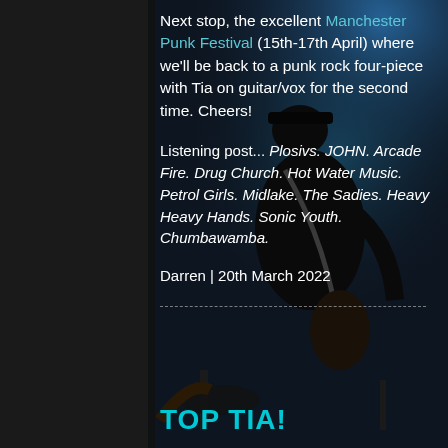[Figure (photo): Concert photo showing a guitarist from behind on stage with blue stage lighting and instruments visible]
Next stop, the excellent Manchester Punk Festival (15th-17th April) where we'll be back to a punk rock four-piece with Tia on guitar/vox for the second time. Cheers!
Listening post... Plosivs. JOHN. Arcade Fire. Drug Church. Hot Water Music. Petrol Girls. Midlake. The Sadies. Heavy Heavy Hands. Sonic Youth. Chumbawamba.
Darren | 20th March 2022
TOP TIA!